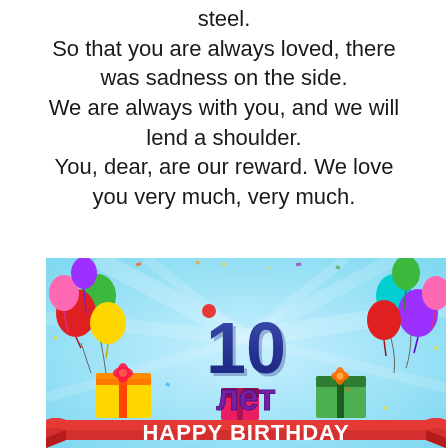steel.
So that you are always loved, there was sadness on the side.
We are always with you, and we will lend a shoulder.
You, dear, are our reward. We love you very much, very much.
[Figure (illustration): Birthday card image showing colorful balloons, gift boxes, the number '10' in large blue 3D letters, text 'лет' in purple, and a red banner at the bottom reading 'HAPPY BIRTHDAY' in white letters, against a light blue background with rays.]